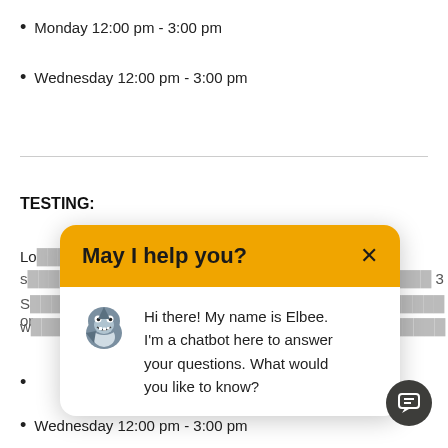Monday 12:00 pm - 3:00 pm
Wednesday 12:00 pm - 3:00 pm
TESTING:
Lo...   ...of Health & H
s...  ...3
S...  ...with or
w...  ...e
[Figure (screenshot): Chatbot popup overlay with yellow header reading 'May I help you?' with an X close button. Body shows a cartoon shark mascot (Elbee) with the message: Hi there! My name is Elbee. I'm a chatbot here to answer your questions. What would you like to know?]
•
Wednesday 12:00 pm - 3:00 pm